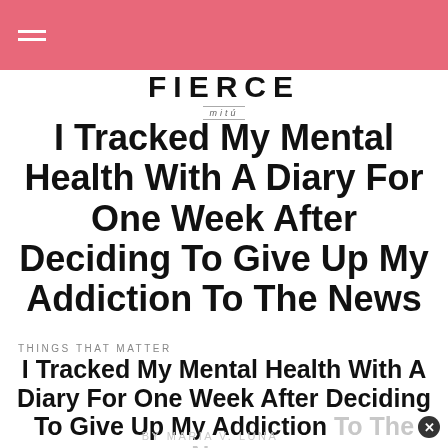FIERCE mitú
I Tracked My Mental Health With A Diary For One Week After Deciding To Give Up My Addiction To The News
THINGS THAT MATTER
I Tracked My Mental Health With A Diary For One Week After Deciding To Give Up My Addiction To The News
BY MARIA V. LUNA